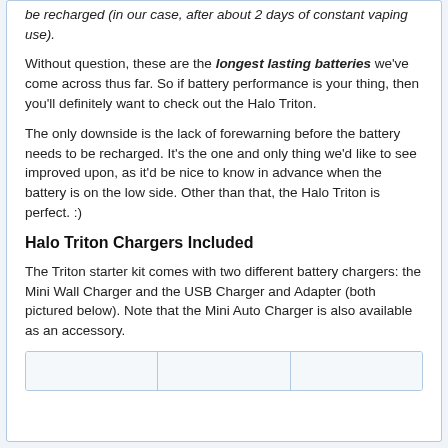be recharged (in our case, after about 2 days of constant vaping use).
Without question, these are the longest lasting batteries we've come across thus far. So if battery performance is your thing, then you'll definitely want to check out the Halo Triton.
The only downside is the lack of forewarning before the battery needs to be recharged. It's the one and only thing we'd like to see improved upon, as it'd be nice to know in advance when the battery is on the low side. Other than that, the Halo Triton is perfect. :)
Halo Triton Chargers Included
The Triton starter kit comes with two different battery chargers: the Mini Wall Charger and the USB Charger and Adapter (both pictured below). Note that the Mini Auto Charger is also available as an accessory.
[Figure (other): Three image placeholders shown in a row at the bottom of the page]